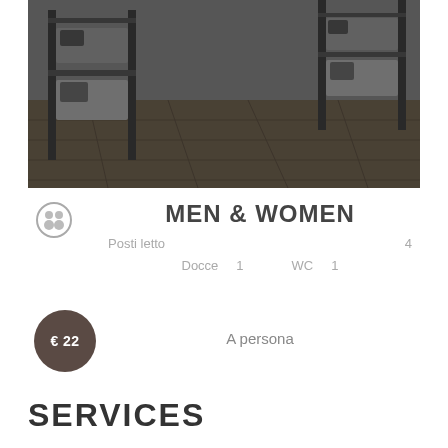[Figure (photo): Black and white photo of a hostel dormitory room with bunk beds and wooden floor]
MEN & WOMEN
Posti letto 4
Docce 1 WC 1
€ 22 A persona
SERVICES